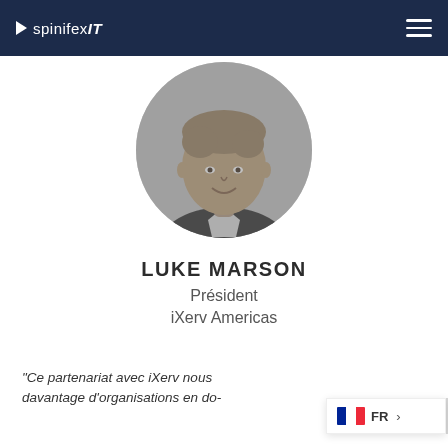spinifexIT
[Figure (photo): Black and white circular portrait photo of Luke Marson, a man in a suit jacket, smiling]
LUKE MARSON
Président
iXerv Americas
"Ce partenariat avec iXerv nous davantage d'organisations en do-